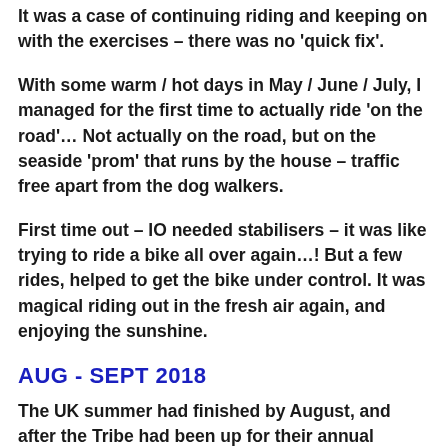It was a case of continuing riding and keeping on with the exercises – there was no 'quick fix'.
With some warm / hot days in May / June / July, I managed for the first time to actually ride 'on the road'… Not actually on the road, but on the seaside 'prom' that runs by the house – traffic free apart from the dog walkers.
First time out – IO needed stabilisers – it was like trying to ride a bike all over again…! But a few rides, helped to get the bike under control. It was magical riding out in the fresh air again, and enjoying the sunshine.
AUG - SEPT 2018
The UK summer had finished by August, and after the Tribe had been up for their annual holidays, it